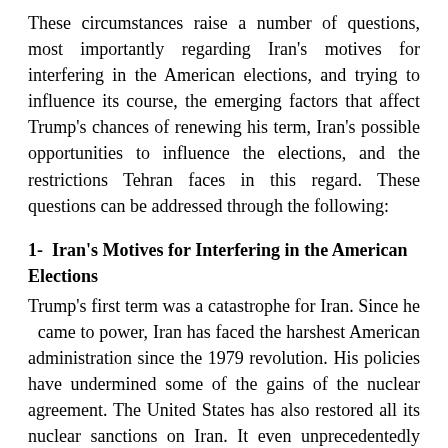These circumstances raise a number of questions, most importantly regarding Iran's motives for interfering in the American elections, and trying to influence its course, the emerging factors that affect Trump's chances of renewing his term, Iran's possible opportunities to influence the elections, and the restrictions Tehran faces in this regard. These questions can be addressed through the following:
1-  Iran's Motives for Interfering in the American Elections
Trump's first term was a catastrophe for Iran. Since he   came to power, Iran has faced the harshest American administration since the 1979 revolution. His policies have undermined some of the gains of the nuclear agreement. The United States has also restored all its nuclear sanctions on Iran. It even unprecedentedly expanded the scope of sanctions, including the  major economic sectors that impact national income, and Iranian oil exports which decreased to its  lowest levels. In the